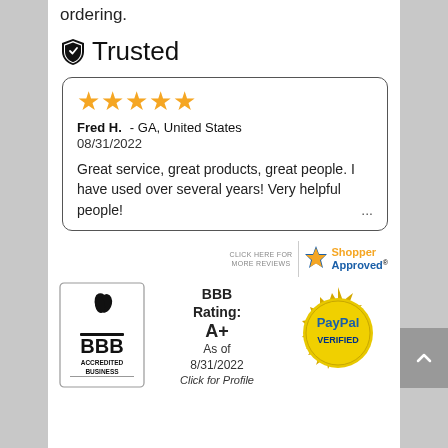ordering.
Trusted
★★★★★
Fred H. - GA, United States
08/31/2022

Great service, great products, great people. I have used over several years! Very helpful people! ...
[Figure (logo): Shopper Approved badge with star icon, orange and blue text]
[Figure (logo): BBB Accredited Business logo]
BBB Rating: A+
As of 8/31/2022
Click for Profile
[Figure (logo): PayPal Verified gold seal badge]